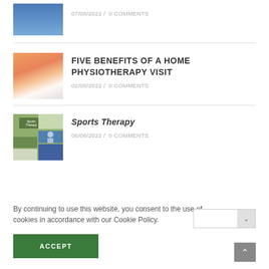[Figure (photo): Partial thumbnail of a person in blue, top of page]
07/08/2022 /  0 COMMENTS
[Figure (photo): Physiotherapy image showing hands working on a knee]
FIVE BENEFITS OF A HOME PHYSIOTHERAPY VISIT
02/08/2022 /  0 COMMENTS
[Figure (photo): Sports Therapy collage image with green background]
Sports Therapy
06/06/2022 /  0 COMMENTS
By continuing to use this website, you consent to the use of cookies in accordance with our Cookie Policy.